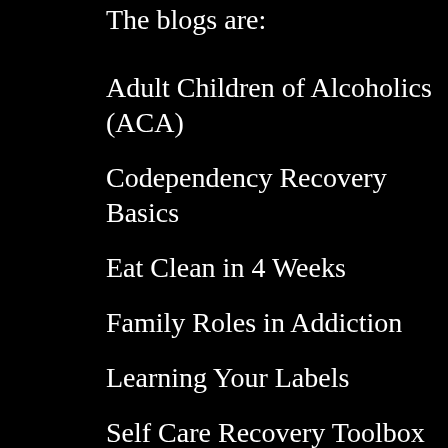The blogs are:
Adult Children of Alcoholics (ACA)
Codependency Recovery Basics
Eat Clean in 4 Weeks
Family Roles in Addiction
Learning Your Labels
Self Care Recovery Toolbox
You Have to Become Your Own Mental Health Expert